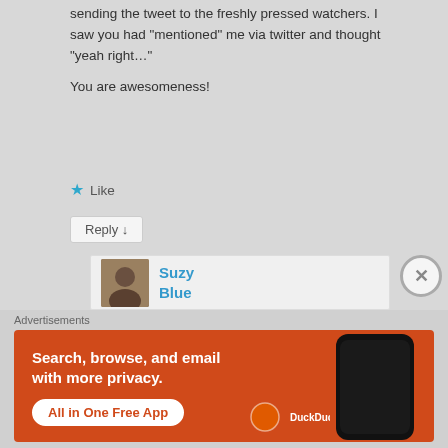sending the tweet to the freshly pressed watchers. I saw you had “mentioned” me via twitter and thought “yeah right…”

You are awesomeness!
Like
Reply ↓
Suzy Blue
Advertisements
[Figure (screenshot): DuckDuckGo advertisement banner with orange background showing 'Search, browse, and email with more privacy. All in One Free App' text and a phone mockup with DuckDuckGo logo]